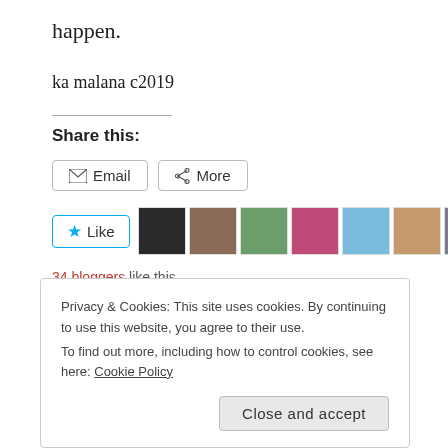happen.
ka malana c2019
Share this:
[Figure (screenshot): Share buttons: Email and More]
[Figure (screenshot): Like button with star icon and blogger avatar thumbnails]
34 bloggers like this.
Privacy & Cookies: This site uses cookies. By continuing to use this website, you agree to their use.
To find out more, including how to control cookies, see here: Cookie Policy